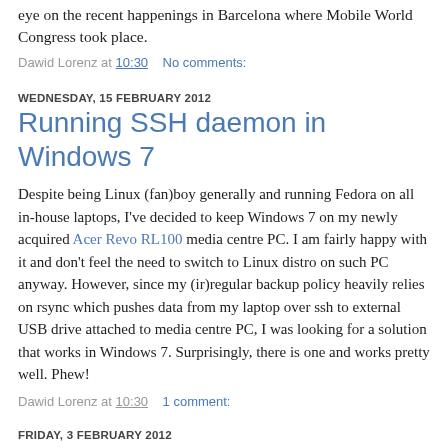eye on the recent happenings in Barcelona where Mobile World Congress took place.
Dawid Lorenz at 10:30    No comments:
WEDNESDAY, 15 FEBRUARY 2012
Running SSH daemon in Windows 7
Despite being Linux (fan)boy generally and running Fedora on all in-house laptops, I've decided to keep Windows 7 on my newly acquired Acer Revo RL100 media centre PC. I am fairly happy with it and don't feel the need to switch to Linux distro on such PC anyway. However, since my (ir)regular backup policy heavily relies on rsync which pushes data from my laptop over ssh to external USB drive attached to media centre PC, I was looking for a solution that works in Windows 7. Surprisingly, there is one and works pretty well. Phew!
Dawid Lorenz at 10:30    1 comment:
FRIDAY, 3 FEBRUARY 2012